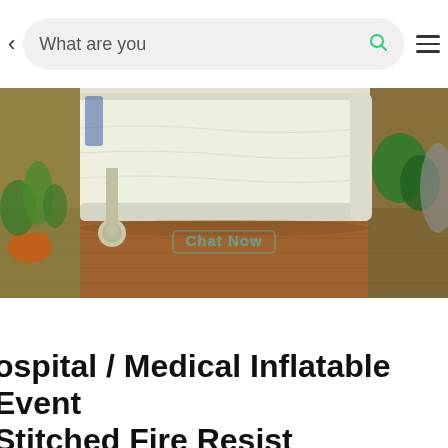< What are you [search bar] ≡
[Figure (photo): Photo of a white inflatable medical/hospital event tent structure on a wooden floor, with green plants and bags visible in the background. A 'Chat Now' watermark is overlaid on the image.]
Hospital / Medical Inflatable Event... Stitched Fire Resist...